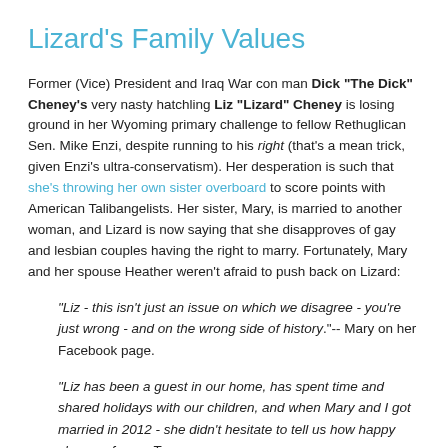Lizard's Family Values
Former (Vice) President and Iraq War con man Dick "The Dick" Cheney's very nasty hatchling Liz "Lizard" Cheney is losing ground in her Wyoming primary challenge to fellow Rethuglican Sen. Mike Enzi, despite running to his right (that's a mean trick, given Enzi's ultra-conservatism).  Her desperation is such that she's throwing her own sister overboard to score points with American Talibangelists.  Her sister, Mary, is married to another woman, and Lizard is now saying that she disapproves of gay and lesbian couples having the right to marry.  Fortunately, Mary and her spouse Heather weren't afraid to push back on Lizard:
"Liz - this isn't just an issue on which we disagree - you're just wrong - and on the wrong side of history."-- Mary on her Facebook page.
"Liz has been a guest in our home, has spent time and shared holidays with our children, and when Mary and I got married in 2012 - she didn't hesitate to tell us how happy she was for us. To